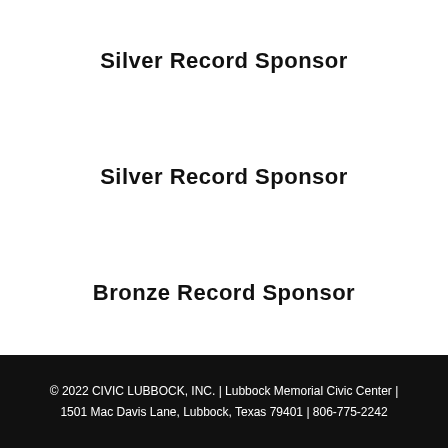Silver Record Sponsor
Silver Record Sponsor
Bronze Record Sponsor
© 2022 CIVIC LUBBOCK, INC. | Lubbock Memorial Civic Center | 1501 Mac Davis Lane, Lubbock, Texas 79401 | 806-775-2242